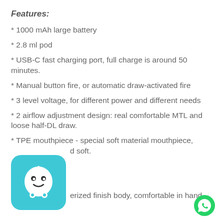Features:
* 1000 mAh large battery
* 2.8 ml pod
* USB-C fast charging port, full charge is around 50 minutes.
* Manual button fire, or automatic draw-activated fire
* 3 level voltage, for different power and different needs
* 2 airflow adjustment design: real comfortable MTL and loose half-DL draw.
* TPE mouthpiece - special soft material mouthpiece, and soft.
* ...erized finish body, comfortable in hand.
[Figure (logo): Waze app logo - blue/teal rounded square with white cartoon ghost face icon]
[Figure (logo): WhatsApp green circle icon]